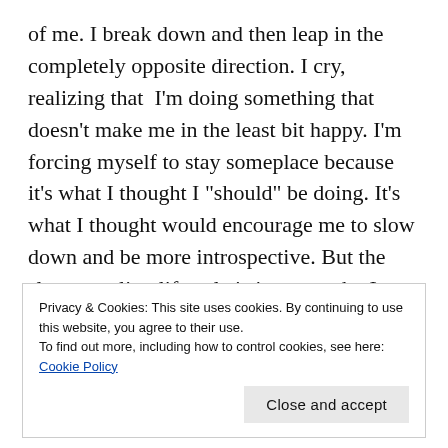of me. I break down and then leap in the completely opposite direction. I cry, realizing that I'm doing something that doesn't make me in the least bit happy. I'm forcing myself to stay someplace because it's what I thought I "should" be doing. It's what I thought would encourage me to slow down and be more introspective. But the slow traveling lifestyle is just not who I am. It's not me, and I was kidding myself in trying to be someone I wasn't. And in realizing this I feel that heavy weight lift off my shoulders again, that same downward,
Privacy & Cookies: This site uses cookies. By continuing to use this website, you agree to their use.
To find out more, including how to control cookies, see here: Cookie Policy

Close and accept